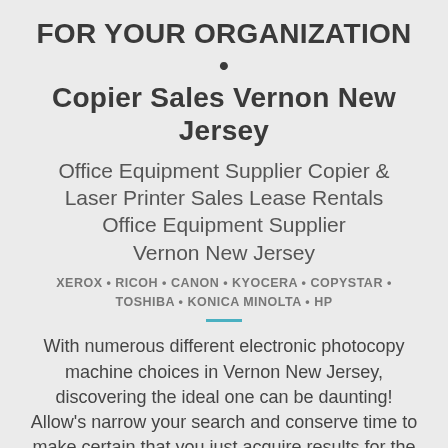FOR YOUR ORGANIZATION • Copier Sales Vernon New Jersey
Office Equipment Supplier Copier & Laser Printer Sales Lease Rentals Office Equipment Supplier Vernon New Jersey
XEROX • RICOH • CANON • KYOCERA • COPYSTAR • TOSHIBA • KONICA MINOLTA • HP
With numerous different electronic photocopy machine choices in Vernon New Jersey, discovering the ideal one can be daunting! Allow's narrow your search and conserve time to make certain that you just acquire results for the